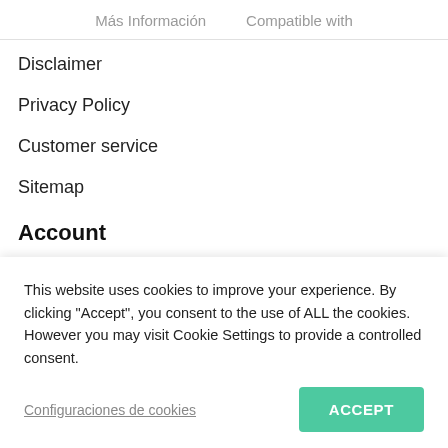Más Información   Compatible with
Disclaimer
Privacy Policy
Customer service
Sitemap
Account
My Account
This website uses cookies to improve your experience. By clicking "Accept", you consent to the use of ALL the cookies. However you may visit Cookie Settings to provide a controlled consent.
Configuraciones de cookies
ACCEPT